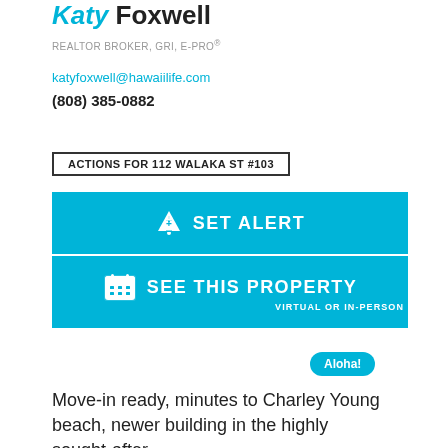Katy Foxwell
REALTOR BROKER, GRI, E-PRO®
katyfoxwell@hawaiilife.com
(808) 385-0882
ACTIONS FOR 112 WALAKA ST #103
[Figure (infographic): Cyan button with bell icon and text SET ALERT]
[Figure (infographic): Cyan button with calendar icon and text SEE THIS PROPERTY, subtext VIRTUAL OR IN-PERSON]
[Figure (photo): Aloha speech bubble in cyan and circular agent photo]
Move-in ready, minutes to Charley Young beach, newer building in the highly sought-after